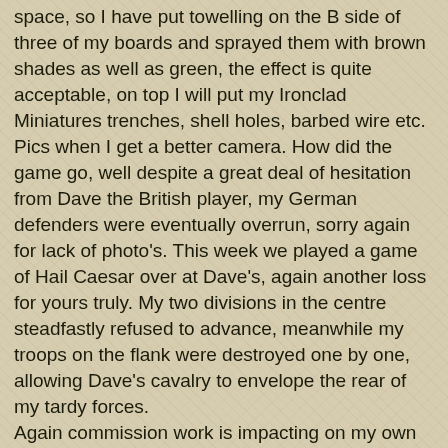space, so I have put towelling on the B side of three of my boards and sprayed them with brown shades as well as green, the effect is quite acceptable, on top I will put my Ironclad Miniatures trenches, shell holes, barbed wire etc. Pics when I get a better camera. How did the game go, well despite a great deal of hesitation from Dave the British player, my German defenders were eventually overrun, sorry again for lack of photo's. This week we played a game of Hail Caesar over at Dave's, again another loss for yours truly. My two divisions in the centre steadfastly refused to advance, meanwhile my troops on the flank were destroyed one by one, allowing Dave's cavalry to envelope the rear of my tardy forces. Again commission work is impacting on my own painting, I have however completed another base of Wars of the Roses billmen, a base of early Great War German uhlans and two late Great War British bombers so that I can now field the representative number in the bombing section, a total of 6 figures for myself this month :-(. I cannot post without putting up anything, so here are some shots, using my wifes new Nikon S3100,  from an ongoing War of the Spanish Succession commission. Pics and British....